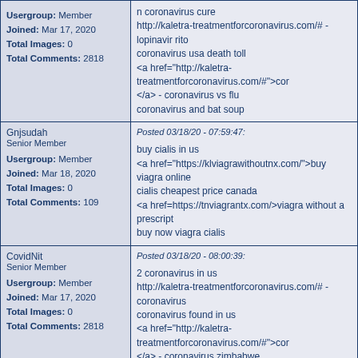| User Info | Post Content |
| --- | --- |
| Usergroup: Member
Joined: Mar 17, 2020
Total Images: 0
Total Comments: 2818 | n coronavirus cure
http://kaletra-treatmentforcoronavirus.com/# - lopinavir rito
coronavirus usa death toll
<a href="http://kaletra-treatmentforcoronavirus.com/#">cor
</a> - coronavirus vs flu
coronavirus and bat soup |
| Gnjsudah
Senior Member
Usergroup: Member
Joined: Mar 18, 2020
Total Images: 0
Total Comments: 109 | Posted 03/18/20 - 07:59:47:
buy cialis in us
<a href="https://klviagrawithoutnx.com/">buy viagra online
cialis cheapest price canada
<a href=https://tnviagrantx.com/>viagra without a prescript
buy now viagra cialis |
| CovidNit
Senior Member
Usergroup: Member
Joined: Mar 17, 2020
Total Images: 0
Total Comments: 2818 | Posted 03/18/20 - 08:00:39:
2 coronavirus in us
http://kaletra-treatmentforcoronavirus.com/# - coronavirus
coronavirus found in us
<a href="http://kaletra-treatmentforcoronavirus.com/#">cor
</a> - coronavirus zimbabwe
coronavirus update live |
| CovidNit
Senior Member
Usergroup: Member
Joined: Mar 17, 2020
Total Images: 0 | Posted 03/18/20 - 08:01:19:
is coronavirus a cold
http://kaletra-treatmentforcoronavirus.com/# - kaletra
coronavirus in washington
<a href="http://kaletra-treatmentforcoronavirus.com/#">co |